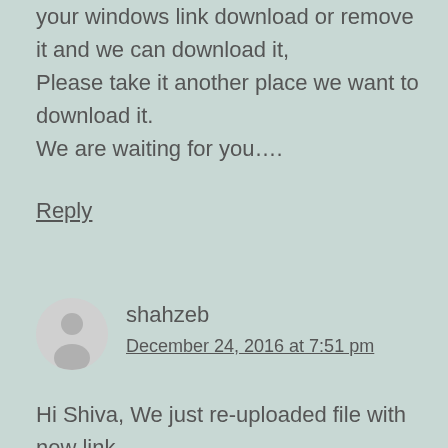your windows link download or remove it and we can download it,
Please take it another place we want to download it.
We are waiting for you….
Reply
shahzeb
December 24, 2016 at 7:51 pm
Hi Shiva, We just re-uploaded file with new link.